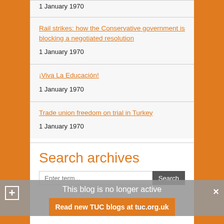1 January 1970
Rail strikes: how the Conservative government is blocking a negotiated resolution
1 January 1970
¡Viva La Educación!
1 January 1970
Trade union freedom on trial in Turkey
1 January 1970
Search archives
This blog is no longer active
Read new TUC blogs at tuc.org.uk